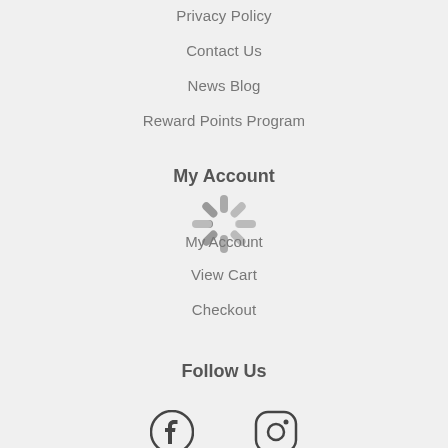Privacy Policy
Contact Us
News Blog
Reward Points Program
My Account
[Figure (illustration): Loading spinner icon overlapping the My Account section header]
My Account
View Cart
Checkout
Follow Us
[Figure (illustration): Facebook and Instagram social media icons]